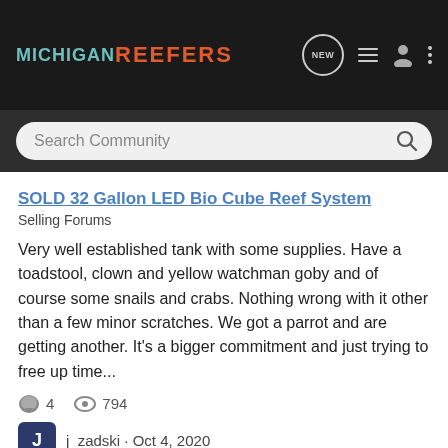MICHIGAN REEFERS
Search Community
SOLD 32 Gallon LED Bio Cube Reef System
Selling Forums
Very well established tank with some supplies. Have a toadstool, clown and yellow watchman goby and of course some snails and crabs. Nothing wrong with it other than a few minor scratches. We got a parrot and are getting another. It's a bigger commitment and just trying to free up time...
4  794
j_zadski · Oct 4, 2020
300  bio  clown  clownfish  crabs  cube  filtration  fish  free  gallon  goby  led  lights  media  reef  snails  supplies  system  tank  toadstool  top  watchman